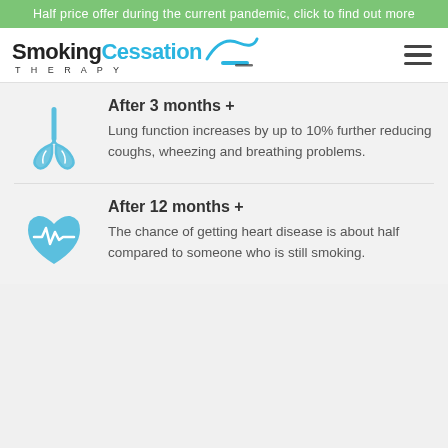Half price offer during the current pandemic, click to find out more
[Figure (logo): SmokingCessation Therapy logo with blue swoosh graphic and hamburger menu icon]
After 3 months +
Lung function increases by up to 10% further reducing coughs, wheezing and breathing problems.
After 12 months +
The chance of getting heart disease is about half compared to someone who is still smoking.